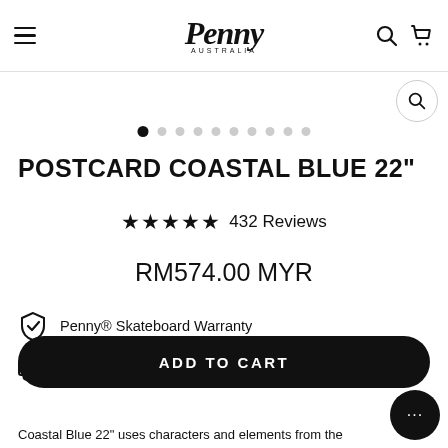Penny Australia — navigation header with logo, search, and cart icons
[Figure (screenshot): Pagination dots row, 10 dots total with first dot active/filled]
POSTCARD COASTAL BLUE 22"
★★★★★ 432 Reviews
RM574.00 MYR
Penny® Skateboard Warranty
Express Shipping On All Boards — Within Asia. Includes Duties & Taxes.
ADD TO CART
Coastal Blue 22" uses characters and elements from the